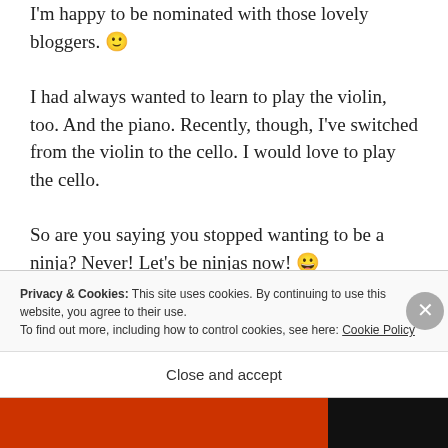I'm happy to be nominated with those lovely bloggers. 🙂
I had always wanted to learn to play the violin, too. And the piano. Recently, though, I've switched from the violin to the cello. I would love to play the cello.
So are you saying you stopped wanting to be a ninja? Never! Let's be ninjas now! 😀
Privacy & Cookies: This site uses cookies. By continuing to use this website, you agree to their use.
To find out more, including how to control cookies, see here: Cookie Policy
Close and accept